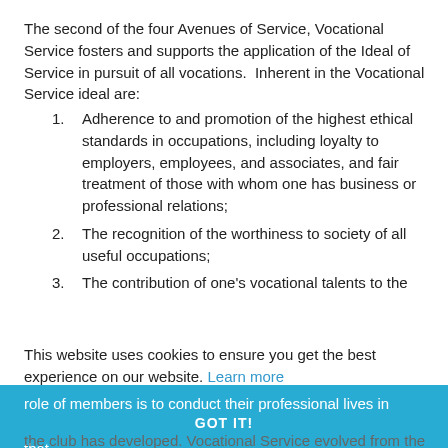The second of the four Avenues of Service, Vocational Service fosters and supports the application of the Ideal of Service in pursuit of all vocations. Inherent in the Vocational Service ideal are:
Adherence to and promotion of the highest ethical standards in occupations, including loyalty to employers, employees, and associates, and fair treatment of those with whom one has business or professional relations;
The recognition of the worthiness to society of all useful occupations;
The contribution of one's vocational talents to the problems and needs of society.
Vocational Service is the responsibility of both a Rotary Club and its members. The role of the club is to develop projects that help members contribute their vocational talents. The role of members is to conduct their professional lives in accordance with Rotary principles and to share in projects that the club has developed. Vocational Service evolved from the classifications principle—a feature originally unique to rotary.
This website uses cookies to ensure you get the best experience on our website. Learn more
GOT IT!